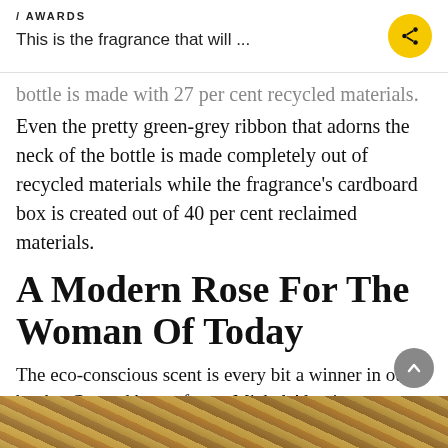/ AWARDS
This is the fragrance that will ...
bottle is made with 27 per cent recycled materials. Even the pretty green-grey ribbon that adorns the neck of the bottle is made completely out of recycled materials while the fragrance's cardboard box is created out of 40 per cent reclaimed materials.
A Modern Rose For The Woman Of Today
The eco-conscious scent is every bit a winner in our books. Created by perfumer Michel Almairac to celebrate nature's strength and spontaneity with the free-spirited Chloé woman, it is elegant and oh-so-easy-to-wear.
[Figure (photo): Bottom strip showing a close-up of braided or woven natural material in warm brown/golden tones]